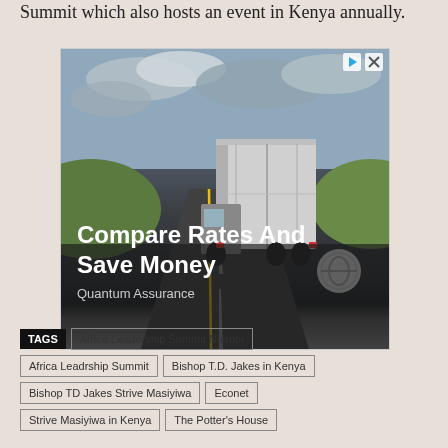Summit which also hosts an event in Kenya annually.
[Figure (photo): Advertisement image showing a large semi-truck trailer on a highway with cloudy sky. Overlay text reads 'Compare Rates And Save Money' with subtext 'Quantum Assurance'. Ad icons (play/close) visible in top right.]
TAGS  Africa Leadership Summit Nairobi  Africa Leadrship Summit  Bishop T.D. Jakes in Kenya  Bishop TD Jakes Strive Masiyiwa  Econet  Strive Masiyiwa in Kenya  The Potter's House